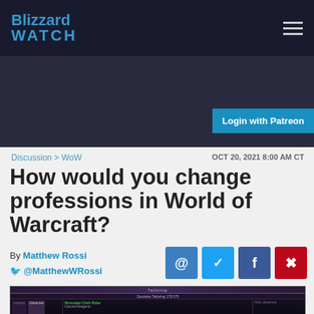Blizzard WATCH
Login with Patreon
Discussion > WoW
OCT 20, 2021 8:00 AM CT
How would you change professions in World of Warcraft?
By Matthew Rossi
@MatthewWRossi
[Figure (screenshot): World of Warcraft Tailoring profession UI screenshot showing Zandalari Tailoring 175/175, with Shrouded Cloth Robe item and Optional Reagents panel visible]